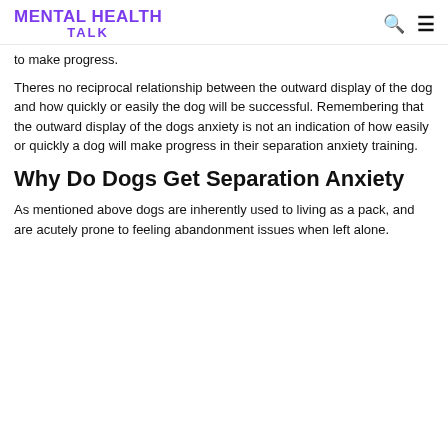MENTAL HEALTH TALK
to make progress.
Theres no reciprocal relationship between the outward display of the dog and how quickly or easily the dog will be successful. Remembering that the outward display of the dogs anxiety is not an indication of how easily or quickly a dog will make progress in their separation anxiety training.
Why Do Dogs Get Separation Anxiety
As mentioned above dogs are inherently used to living as a pack, and are acutely prone to feeling abandonment issues when left alone.